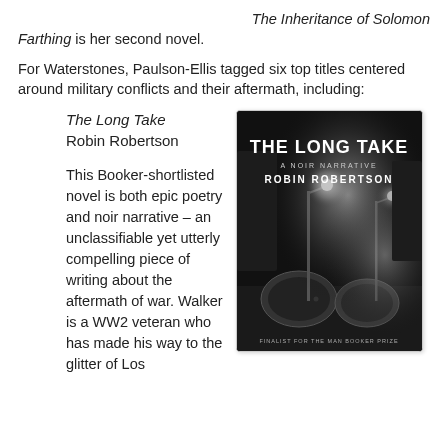The Inheritance of Solomon Farthing is her second novel.
For Waterstones, Paulson-Ellis tagged six top titles centered around military conflicts and their aftermath, including:
The Long Take
Robin Robertson
This Booker-shortlisted novel is both epic poetry and noir narrative – an unclassifiable yet utterly compelling piece of writing about the aftermath of war. Walker is a WW2 veteran who has made his way to the glitter of Los
[Figure (photo): Book cover of 'The Long Take: A Noir Narrative' by Robin Robertson. Black and white photograph of foggy street lamps near tunnel entrances at night. Bold white text reads 'THE LONG TAKE', subtitle 'A NOIR NARRATIVE', author 'ROBIN ROBERTSON', and at bottom 'FINALIST FOR THE MAN BOOKER PRIZE'.]